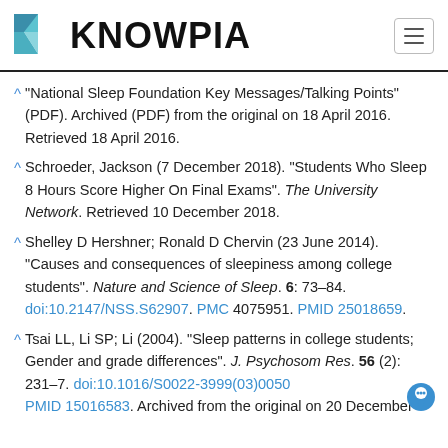KNOWPIA
^ "National Sleep Foundation Key Messages/Talking Points" (PDF). Archived (PDF) from the original on 18 April 2016. Retrieved 18 April 2016.
^ Schroeder, Jackson (7 December 2018). "Students Who Sleep 8 Hours Score Higher On Final Exams". The University Network. Retrieved 10 December 2018.
^ Shelley D Hershner; Ronald D Chervin (23 June 2014). "Causes and consequences of sleepiness among college students". Nature and Science of Sleep. 6: 73–84. doi:10.2147/NSS.S62907. PMC 4075951. PMID 25018659.
^ Tsai LL, Li SP; Li (2004). "Sleep patterns in college students; Gender and grade differences". J. Psychosom Res. 56 (2): 231–7. doi:10.1016/S0022-3999(03)0050 PMID 15016583. Archived from the original on 20 December